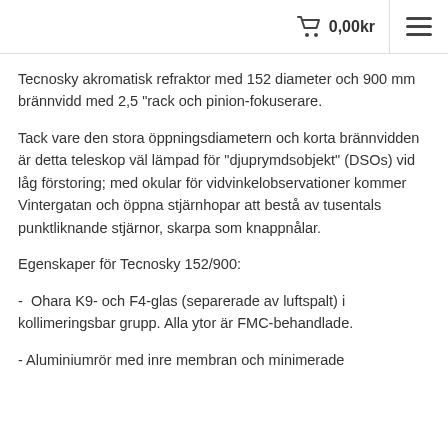0,00kr
Tecnosky akromatisk refraktor med 152 diameter och 900 mm brännvidd med 2,5 "rack och pinion-fokuserare.
Tack vare den stora öppningsdiametern och korta brännvidden är detta teleskop väl lämpad för "djuprymdsobjekt" (DSOs) vid låg förstoring; med okular för vidvinkelobservationer kommer Vintergatan och öppna stjärnhopar att bestå av tusentals punktliknande stjärnor, skarpa som knappnålar.
Egenskaper för Tecnosky 152/900:
-  Ohara K9- och F4-glas (separerade av luftspalt) i kollimeringsbar grupp. Alla ytor är FMC-behandlade.
- Aluminiumrör med inre membran och minimerade